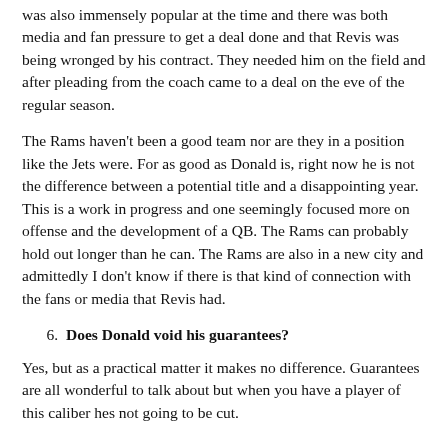was also immensely popular at the time and there was both media and fan pressure to get a deal done and that Revis was being wronged by his contract. They needed him on the field and after pleading from the coach came to a deal on the eve of the regular season.
The Rams haven't been a good team nor are they in a position like the Jets were. For as good as Donald is, right now he is not the difference between a potential title and a disappointing year. This is a work in progress and one seemingly focused more on offense and the development of a QB. The Rams can probably hold out longer than he can. The Rams are also in a new city and admittedly I don't know if there is that kind of connection with the fans or media that Revis had.
6. Does Donald void his guarantees?
Yes, but as a practical matter it makes no difference. Guarantees are all wonderful to talk about but when you have a player of this caliber hes not going to be cut.